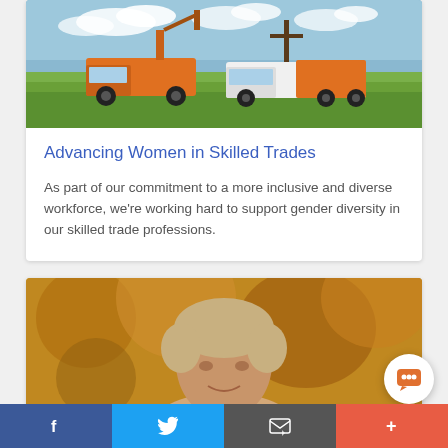[Figure (photo): Orange utility trucks parked in a green grass field with telephone pole, blue sky with clouds]
Advancing Women in Skilled Trades
As part of our commitment to a more inclusive and diverse workforce, we're working hard to support gender diversity in our skilled trade professions.
[Figure (photo): Portrait of a person with short blonde hair against a blurred yellow autumn foliage background]
Social share bar: Facebook, Twitter, Email, More